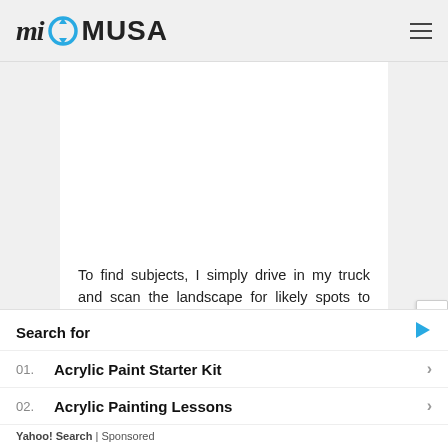miOMUSA
[Figure (other): White blank image area inside article card]
To find subjects, I simply drive in my truck and scan the landscape for likely spots to paint. I also frequently try back-country roads and take every opportunity to get lost to enhance my databank of potential
Search for
01. Acrylic Paint Starter Kit
02. Acrylic Painting Lessons
Yahoo! Search | Sponsored